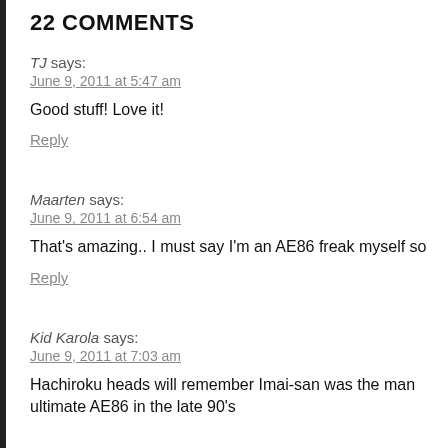22 COMMENTS
TJ says:
June 9, 2011 at 5:47 am
Good stuff! Love it!
Reply
Maarten says:
June 9, 2011 at 6:54 am
That's amazing.. I must say I'm an AE86 freak myself so
Reply
Kid Karola says:
June 9, 2011 at 7:03 am
Hachiroku heads will remember Imai-san was the man ultimate AE86 in the late 90's